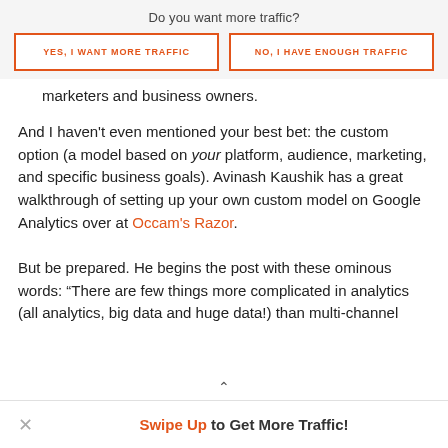Do you want more traffic?
YES, I WANT MORE TRAFFIC
NO, I HAVE ENOUGH TRAFFIC
marketers and business owners.
And I haven't even mentioned your best bet: the custom option (a model based on your platform, audience, marketing, and specific business goals). Avinash Kaushik has a great walkthrough of setting up your own custom model on Google Analytics over at Occam's Razor.
But be prepared. He begins the post with these ominous words: “There are few things more complicated in analytics (all analytics, big data and huge data!) than multi-channel
Swipe Up to Get More Traffic!